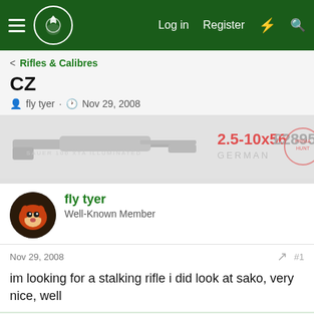Navigation bar with hamburger menu, site logo, Log in, Register, and search icons
< Rifles & Calibres
CZ
fly tyer · Nov 29, 2008
[Figure (other): Advertisement banner showing a Sauer 100 XTA Illuminated rifle with scope 2.5-10x56 priced at £2895, GERMAN text, and a circular stamp logo]
fly tyer
Well-Known Member
Nov 29, 2008
#1
im looking for a stalking rifle i did look at sako, very nice, well
This site uses cookies to help personalise content, tailor your experience and to keep you logged in if you register.
By continuing to use this site, you are consenting to our use of cookies.
Accept  Learn more...